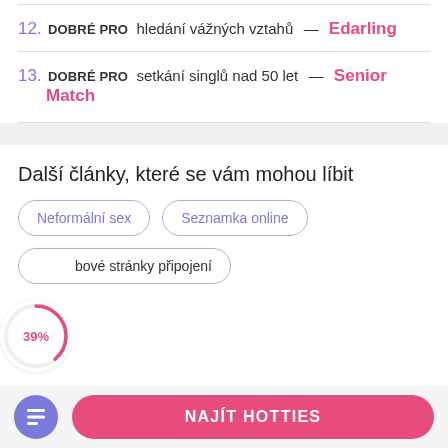12. DOBRÉ PRO hledání vážných vztahů — Edarling
13. DOBRÉ PRO setkání singlů nad 50 let — Senior Match
Další články, které se vám mohou líbit
Neformální sex
Seznamka online
bové stránky připojení
NAJÍT HOTTIES